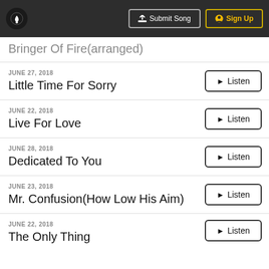Submit Song | Sign Up
Bringer Of Fire(arranged)
JUNE 27, 2018 — Little Time For Sorry
JUNE 22, 2018 — Live For Love
JUNE 28, 2018 — Dedicated To You
JUNE 23, 2018 — Mr. Confusion(How Low His Aim)
JUNE 22, 2018 — The Only Thing